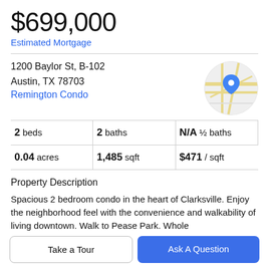$699,000
Estimated Mortgage
1200 Baylor St, B-102
Austin, TX 78703
Remington Condo
[Figure (map): Circular map thumbnail showing street map with blue location pin marker]
| beds/baths/halfbaths | sqft/price |
| --- | --- |
| 2 beds | 2 baths | N/A ½ baths |
| 0.04 acres | 1,485 sqft | $471 / sqft |
Property Description
Spacious 2 bedroom condo in the heart of Clarksville. Enjoy the neighborhood feel with the convenience and walkability of living downtown. Walk to Pease Park. Whole
Take a Tour
Ask A Question